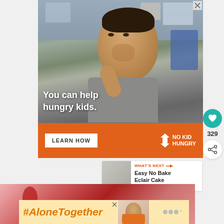[Figure (photo): Advertisement banner: photo of a young boy eating in a classroom with text overlay 'You can help hungry kids.' and orange bottom bar with 'LEARN HOW' button and 'NO KID HUNGRY' logo]
329
[Figure (infographic): WHAT'S NEXT arrow label with thumbnail image, title: Easy No Bake Eclair Cake]
[Figure (photo): Partial photo of a red dessert/food item at the bottom of the page]
[Figure (infographic): #AloneTogether advertisement bar with woman photo and brand logo]